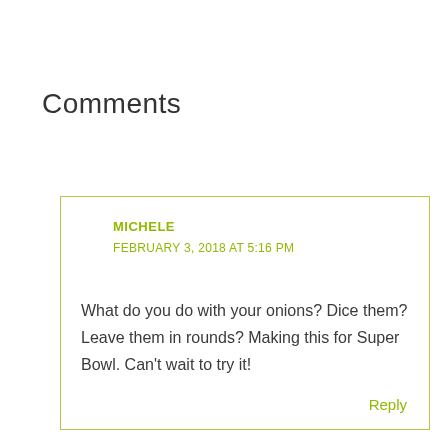Comments
MICHELE
FEBRUARY 3, 2018 AT 5:16 PM
What do you do with your onions? Dice them? Leave them in rounds? Making this for Super Bowl. Can't wait to try it!
Reply